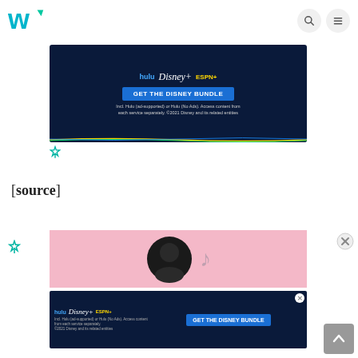Wiktionary logo with search and menu icons
[Figure (screenshot): Disney Bundle advertisement banner (dark blue) with Hulu, Disney+, ESPN+ logos, GET THE DISNEY BUNDLE button, fine print, and colored stripe at bottom]
[Figure (logo): Freestar ad attribution icon]
[source]
[Figure (screenshot): Pink banner advertisement with dark circular element]
[Figure (screenshot): Disney Bundle advertisement banner (dark blue) compact version with Hulu, Disney+, ESPN+ logos and GET THE DISNEY BUNDLE button]